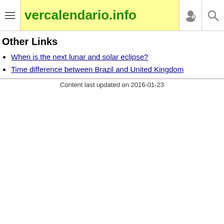vercalendario.info
Other Links
When is the next lunar and solar eclipse?
Time difference between Brazil and United Kingdom
Content last updated on 2016-01-23